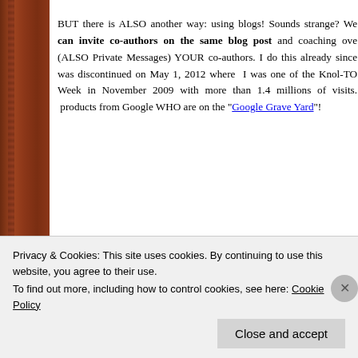BUT there is ALSO another way: using blogs! Sounds strange? We can invite co-authors on the same blog post and coaching over (ALSO Private Messages) YOUR co-authors. I do this already since was discontinued on May 1, 2012 where I was one of the Knol-TO Week in November 2009 with more than 1.4 millions of visits. products from Google WHO are on the "Google Grave Yard"!
[Figure (table-as-image): Table with 3 columns numbered 1, 2, 3, each containing a portrait photo of a person]
Privacy & Cookies: This site uses cookies. By continuing to use this website, you agree to their use.
To find out more, including how to control cookies, see here: Cookie Policy